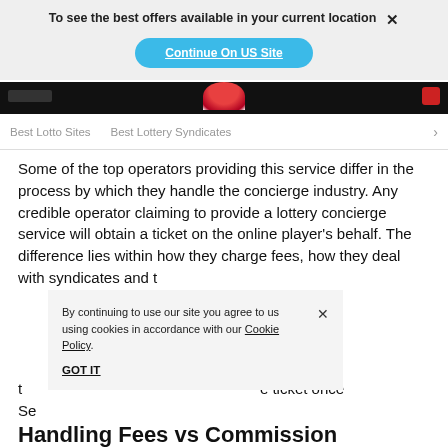To see the best offers available in your current location
Continue On US Site
Best Lotto Sites   Best Lottery Syndicates   >
Some of the top operators providing this service differ in the process by which they handle the concierge industry. Any credible operator claiming to provide a lottery concierge service will obtain a ticket on the online player's behalf. The difference lies within how they charge fees, how they deal with syndicates and the ticket once Se
By continuing to use our site you agree to us using cookies in accordance with our Cookie Policy.
GOT IT
Handling Fees vs Commission